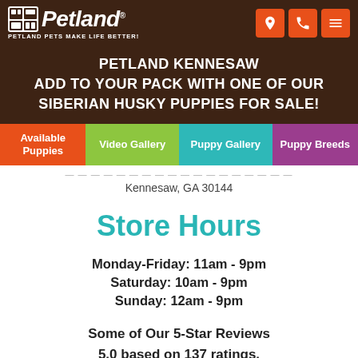Petland — Petland Pets Make Life Better!
PETLAND KENNESAW
ADD TO YOUR PACK WITH ONE OF OUR SIBERIAN HUSKY PUPPIES FOR SALE!
Available Puppies
Video Gallery
Puppy Gallery
Puppy Breeds
Kennesaw, GA 30144
Store Hours
Monday-Friday: 11am - 9pm
Saturday: 10am - 9pm
Sunday: 12am - 9pm
Some of Our 5-Star Reviews
5.0 based on 137 ratings.